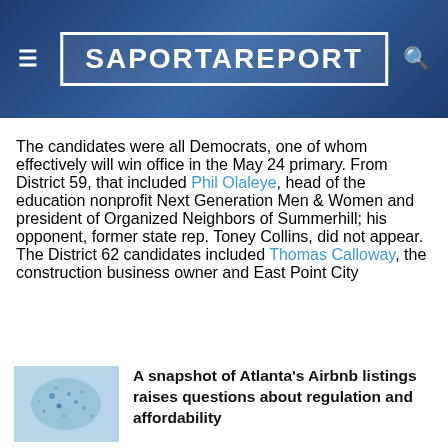SaportaReport
The candidates were all Democrats, one of whom effectively will win office in the May 24 primary. From District 59, that included Phil Olaleye, head of the education nonprofit Next Generation Men & Women and president of Organized Neighbors of Summerhill; his opponent, former state rep. Toney Collins, did not appear. The District 62 candidates included Thomas Calloway, the construction business owner and East Point City
Related Stories
A snapshot of Atlanta's Airbnb listings raises questions about regulation and affordability